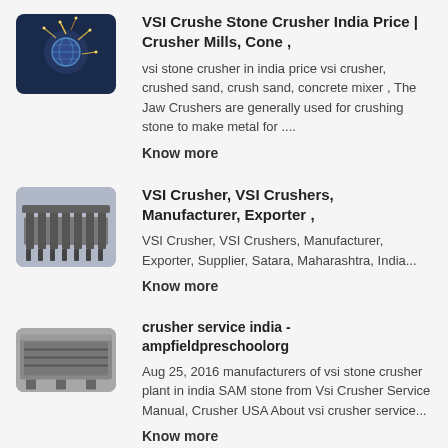[Figure (photo): Thumbnail image of stone crusher machinery with sparks]
VSI Crushe Stone Crusher India Price | Crusher Mills, Cone ,
vsi stone crusher in india price vsi crusher, crushed sand, crush sand, concrete mixer , The Jaw Crushers are generally used for crushing stone to make metal for ....
Know more
[Figure (photo): Thumbnail image of VSI crusher equipment with multiple nozzles]
VSI Crusher, VSI Crushers, Manufacturer, Exporter ,
VSI Crusher, VSI Crushers, Manufacturer, Exporter, Supplier, Satara, Maharashtra, India...
Know more
[Figure (photo): Thumbnail image of crusher service equipment]
crusher service india - ampfieldpreschoolorg
Aug 25, 2016 manufacturers of vsi stone crusher plant in india SAM stone from Vsi Crusher Service Manual, Crusher USA About vsi crusher service...
Know more